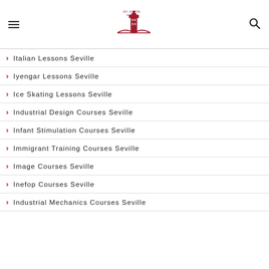for sevilla lovers
Italian Lessons Seville
Iyengar Lessons Seville
Ice Skating Lessons Seville
Industrial Design Courses Seville
Infant Stimulation Courses Seville
Immigrant Training Courses Seville
Image Courses Seville
Inefop Courses Seville
Industrial Mechanics Courses Seville